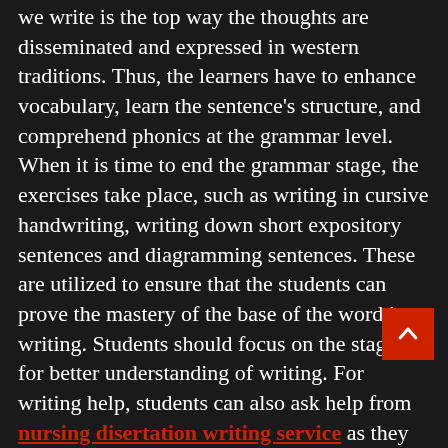we write is the top way the thoughts are disseminated and expressed in western traditions. Thus, the learners have to enhance vocabulary, learn the sentence's structure, and comprehend phonics at the grammar level. When it is time to end the grammar stage, the exercises take place, such as writing in cursive handwriting, writing down short expository sentences and diagramming sentences. These are utilized to ensure that the students can prove the mastery of the base of the word in writing. Students should focus on the stages for better understanding of writing. For writing help, students can also ask help from nursing disertation writing service as they have field experts.
Students' knowledge of language arts expands at the logic level by tutoring them to define the